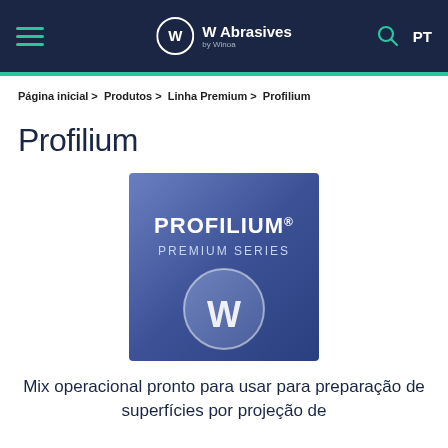W Abrasives by Winoa — Navigation header with hamburger menu, logo, search icon, and PT language selector
Página inicial > Produtos > Linha Premium > Profilium
Profilium
[Figure (photo): Blue/purple gradient square product image showing PROFILIUM® PREMIUM SERIES text and W Abrasives logo (circle with W symbol) in white]
Mix operacional pronto para usar para preparação de superfícies por projeção de